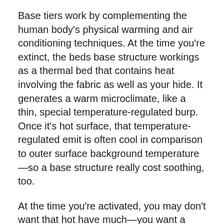Base tiers work by complementing the human body's physical warming and air conditioning techniques. At the time you're extinct, the beds base structure workings as a thermal bed that contains heat involving the fabric as well as your hide. It generates a warm microclimate, like a thin, special temperature-regulated burp. Once it's hot surface, that temperature-regulated emit is often cool in comparison to outer surface background temperature—so a base structure really cost soothing, too.
At the time you're activated, you may don't want that hot have much—you want a region they'll put unneeded hot-air. But when you're idle, things's essential that the beds base bed thermoregulates to keep you heated, because moisture (and various other wet from the body) drags warm from the system mainly because it evaporates. And as mentioned in tips from device Newspaper, the body's cooling system undoubtedly productive: "Sweat blow warming faraway from the body 25 abstraction faster than genuinely does the atmosphere; wet epidermis cools 25 time easier than dry skin."